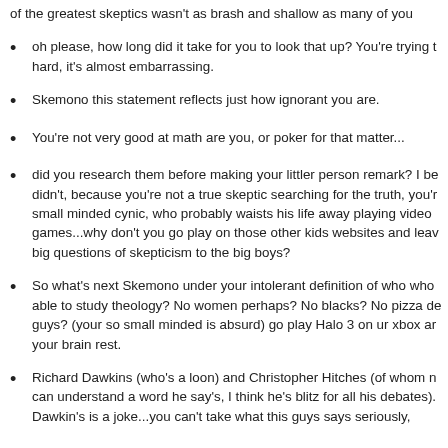of the greatest skeptics wasn't as brash and shallow as many of you
oh please, how long did it take for you to look that up? You're trying hard, it's almost embarrassing.
Skemono this statement reflects just how ignorant you are.
You're not very good at math are you, or poker for that matter...
did you research them before making your littler person remark? I be didn't, because you're not a true skeptic searching for the truth, you'r small minded cynic, who probably waists his life away playing video games...why don't you go play on those other kids websites and leav big questions of skepticism to the big boys?
So what's next Skemono under your intolerant definition of who who able to study theology? No women perhaps? No blacks? No pizza de guys? (your so small minded is absurd) go play Halo 3 on ur xbox ar your brain rest.
Richard Dawkins (who's a loon) and Christopher Hitches (of whom n can understand a word he say's, I think he's blitz for all his debates). Dawkin's is a joke...you can't take what this guys says seriously,